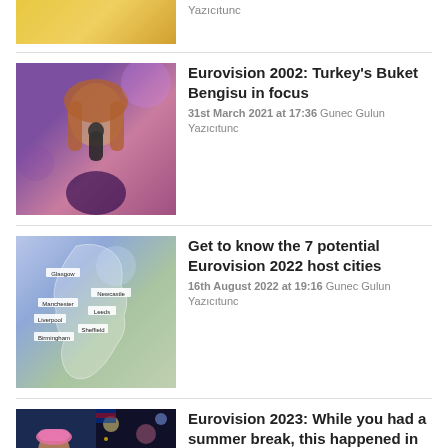[Figure (photo): Partial view of a Eurovision-related photo with yellow/gold tones at top of page (cropped)]
Yazıcıtunc
[Figure (photo): Woman with long brown hair singing into a microphone on a purple-lit stage — Buket Bengisu at Eurovision 2002]
Eurovision 2002: Turkey's Buket Bengisu in focus
31st March 2021 at 17:36 Gunec Gulun Yazıcıtunc
[Figure (map): Map of the UK highlighting 7 potential Eurovision 2022 host cities: Glasgow, Manchester, Newcastle, Leeds, Liverpool, Sheffield, Birmingham]
Get to know the 7 potential Eurovision 2022 host cities
16th August 2022 at 19:16 Gunec Gulun Yazıcıtunc
[Figure (photo): Split image: left shows a man in colourful jacket holding a Eurovision trophy; right shows a performer on stage at Eurovision 2023]
Eurovision 2023: While you had a summer break, this happened in the world of Eurovision
2nd August 2022 at 19:22 Gunec Gulun Yazıcıtunc